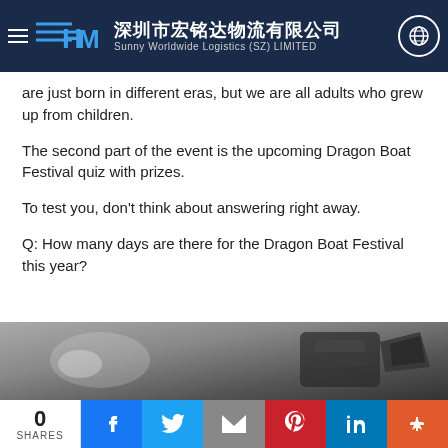深圳市宏铭达物流有限公司 Sunny Worldwide Logistics (SZ) LIMITED
are just born in different eras, but we are all adults who grew up from children.
The second part of the event is the upcoming Dragon Boat Festival quiz with prizes.
To test you, don't think about answering right away.
Q: How many days are there for the Dragon Boat Festival this year?
[Figure (photo): Partial photo of what appears to be a boat or vehicle detail, dark metallic tones]
0 SHARES | Facebook | Twitter | Email | Pinterest | LinkedIn | More